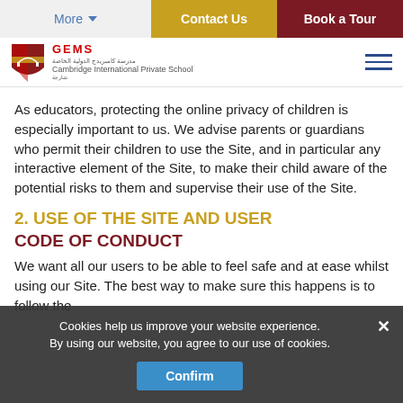More   Contact Us   Book a Tour
[Figure (logo): GEMS Cambridge International Private School logo with shield crest]
As educators, protecting the online privacy of children is especially important to us. We advise parents or guardians who permit their children to use the Site, and in particular any interactive element of the Site, to make their child aware of the potential risks to them and supervise their use of the Site.
2. USE OF THE SITE AND USER CODE OF CONDUCT
We want all our users to be able to feel safe and at ease whilst using our Site. The best way to make sure this happens is to follow the
Cookies help us improve your website experience. By using our website, you agree to our use of cookies.
Confirm